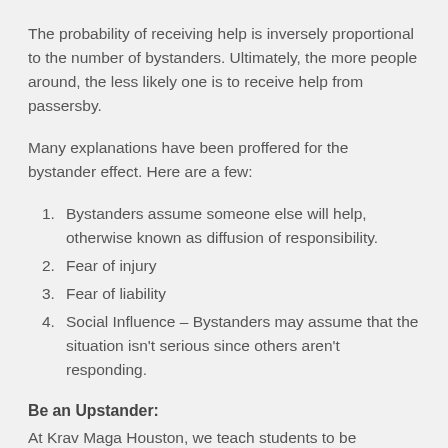The probability of receiving help is inversely proportional to the number of bystanders. Ultimately, the more people around, the less likely one is to receive help from passersby.
Many explanations have been proffered for the bystander effect. Here are a few:
Bystanders assume someone else will help, otherwise known as diffusion of responsibility.
Fear of injury
Fear of liability
Social Influence – Bystanders may assume that the situation isn't serious since others aren't responding.
Be an Upstander:
At Krav Maga Houston, we teach students to be upstanders, rather than bystanders. That is, instead of